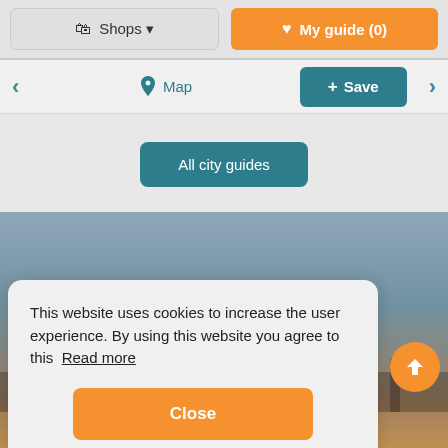Shops ▾   ♥ My guide (0)
◀   📍 Map   + Save   ▶
All city guides
This website uses cookies to increase the user experience. By using this website you agree to this  Read more
Close
Rotterdam